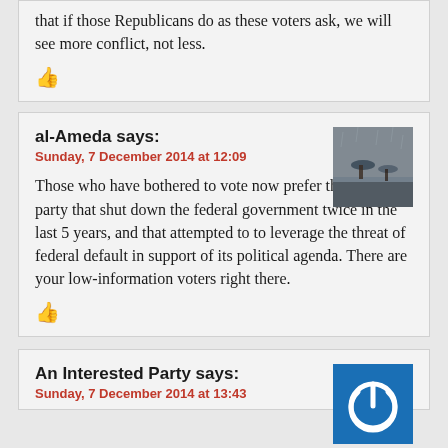that if those Republicans do as these voters ask, we will see more conflict, not less.
al-Ameda says:
Sunday, 7 December 2014 at 12:09
Those who have bothered to vote now prefer the political party that shut down the federal government twice in the last 5 years, and that attempted to to leverage the threat of federal default in support of its political agenda. There are your low-information voters right there.
An Interested Party says:
Sunday, 7 December 2014 at 13:43